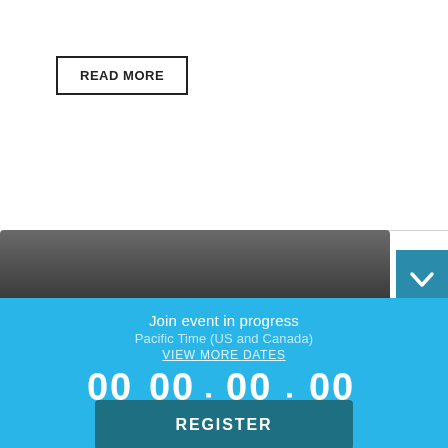READ MORE
[Figure (photo): Hawaii Real Estate promotional image with text 'Hawaii Real Estate Lives Here.' over a dark outdoor scene]
Join event in progress
Pacific Time (US and Canada)
VIEW MORE DATES
00 DAYS   00 : 00 : 00   HOURS   MINUTES   SECONDS
REGISTER